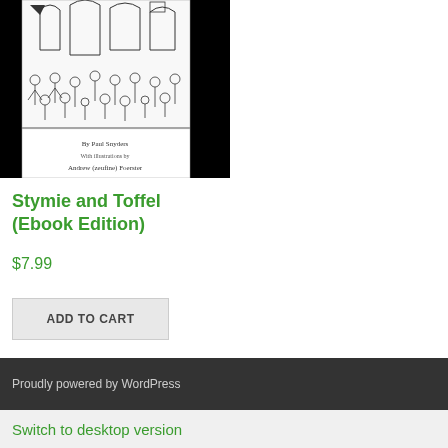[Figure (illustration): Book cover illustration for 'Stymie and Toffel' showing a detailed black and white line drawing of a crowded scene with many characters. Text on cover reads 'By Paul Snyders / With illustrations by / Andrew (zeufine) Foerster'. Black borders on left and right sides of cover.]
Stymie and Toffel (Ebook Edition)
$7.99
ADD TO CART
Proudly powered by WordPress
Switch to desktop version